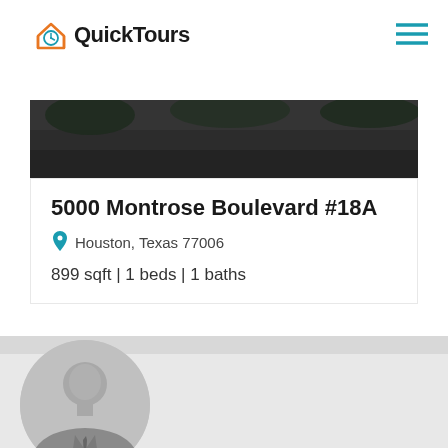[Figure (logo): QuickTours logo with house/clock icon in orange and teal]
[Figure (photo): Property exterior photo strip (dark, partially visible)]
5000 Montrose Boulevard #18A
Houston, Texas 77006
899 sqft | 1 beds | 1 baths
[Figure (photo): Default agent avatar placeholder showing a generic male silhouette in business attire inside a gray circle]